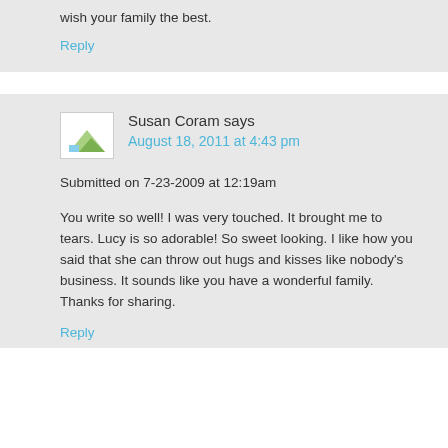wish your family the best.
Reply
Susan Coram says
August 18, 2011 at 4:43 pm
Submitted on 7-23-2009 at 12:19am
You write so well! I was very touched. It brought me to tears. Lucy is so adorable! So sweet looking. I like how you said that she can throw out hugs and kisses like nobody's business. It sounds like you have a wonderful family. Thanks for sharing.
Reply